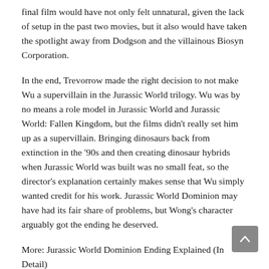final film would have not only felt unnatural, given the lack of setup in the past two movies, but it also would have taken the spotlight away from Dodgson and the villainous Biosyn Corporation.
In the end, Trevorrow made the right decision to not make Wu a supervillain in the Jurassic World trilogy. Wu was by no means a role model in Jurassic World and Jurassic World: Fallen Kingdom, but the films didn't really set him up as a supervillain. Bringing dinosaurs back from extinction in the '90s and then creating dinosaur hybrids when Jurassic World was built was no small feat, so the director's explanation certainly makes sense that Wu simply wanted credit for his work. Jurassic World Dominion may have had its fair share of problems, but Wong's character arguably got the ending he deserved.
More: Jurassic World Dominion Ending Explained (In Detail)
Source: THR
[Figure (photo): Broken image placeholder labeled 'Every Actor Played Elvis 2022']
Every Actor Who Has Played Elvis Presley In Movies